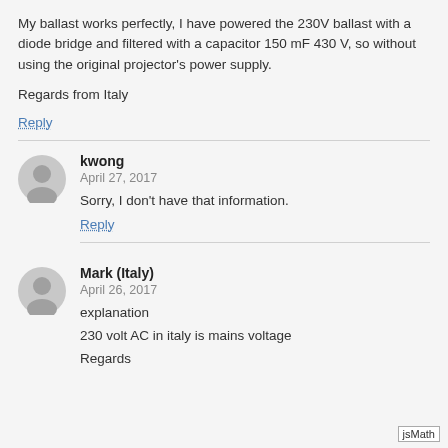My ballast works perfectly, I have powered the 230V ballast with a diode bridge and filtered with a capacitor 150 mF 430 V, so without using the original projector's power supply.
Regards from Italy
Reply
kwong
April 27, 2017
Sorry, I don't have that information.
Reply
Mark (Italy)
April 26, 2017
explanation
230 volt AC in italy is mains voltage
Regards